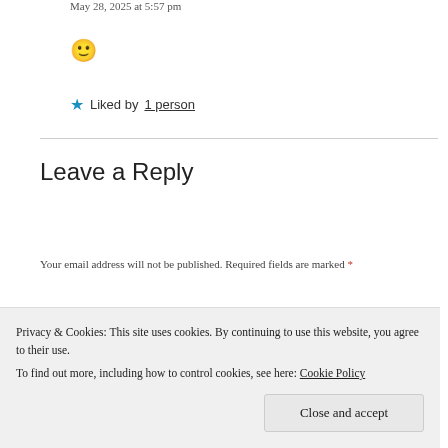May 28, 2025 at 5:57 pm
[Figure (illustration): Slightly smiling face emoji 🙂]
★ Liked by 1 person
Leave a Reply
Your email address will not be published. Required fields are marked *
COMMENT *
Privacy & Cookies: This site uses cookies. By continuing to use this website, you agree to their use. To find out more, including how to control cookies, see here: Cookie Policy